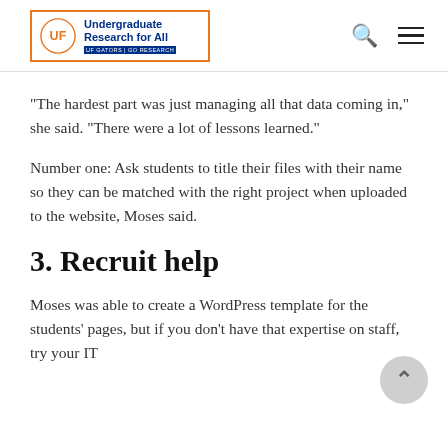Undergraduate Research for All — UF Center for Undergraduate Research
“The hardest part was just managing all that data coming in,” she said. “There were a lot of lessons learned.”
Number one: Ask students to title their files with their name so they can be matched with the right project when uploaded to the website, Moses said.
3. Recruit help
Moses was able to create a WordPress template for the students’ pages, but if you don’t have that expertise on staff, try your IT